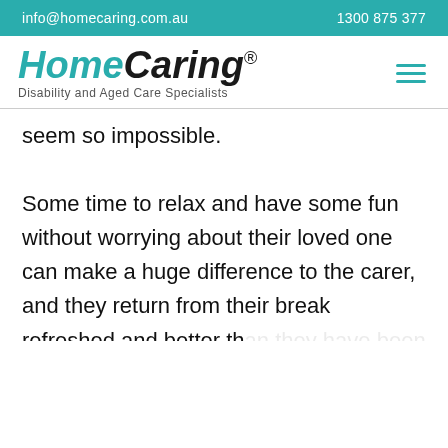info@homecaring.com.au   1300 875 377
[Figure (logo): HomeCaring logo with text 'Disability and Aged Care Specialists' and hamburger menu icon]
seem so impossible.
Some time to relax and have some fun without worrying about their loved one can make a huge difference to the carer, and they return from their break refreshed and better th... while. Then they re... vantage of respite
[Figure (infographic): Google Rating widget showing 4.9 stars based on 81 reviews with Google G logo]